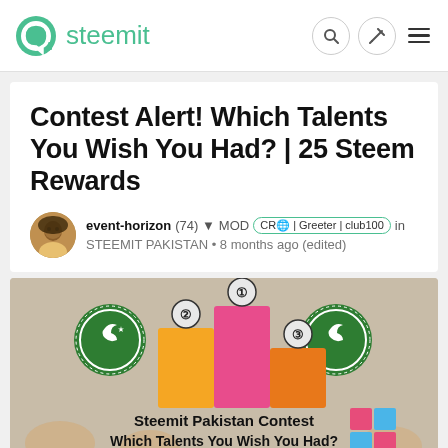steemit
Contest Alert! Which Talents You Wish You Had? | 25 Steem Rewards
event-horizon (74) ▼  MOD  CR🌐 | Greeter | club100  in STEEMIT PAKISTAN • 8 months ago (edited)
[Figure (photo): Contest promotional image showing a podium with 1st, 2nd, 3rd place markers and Steemit Pakistan logos. Text reads 'Steemit Pakistan Contest' and 'Which Talents You Wish You Had?']